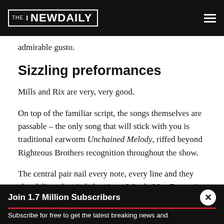THE NEW DAILY
admirable gusto.
Sizzling preformances
Mills and Rix are very, very good.
On top of the familiar script, the songs themselves are passable – the only song that will stick with you is traditional earworm Unchained Melody, riffed beyond Righteous Brothers recognition throughout the show.
The central pair nail every note, every line and they also deliver the vital chemistry. Wendy Mae Brown is impressive as Oda Mae Brown, again with a heavy hint of Whoopi Goldberg.
Join 1.7 Million Subscribers
Subscribe for free to get the latest breaking news and